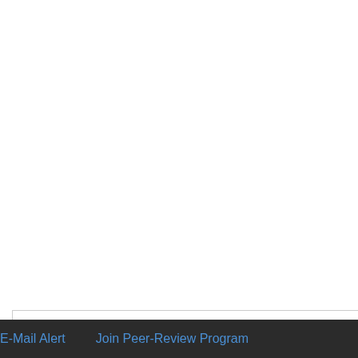the exchanges mineral-so capable of being set by hy
Lamellar indication of the argon adsorption. The de mineral in many domains on the shape of the partic These indications suppos
4. Conclusions
At the end of this work, tw
First, the use of Derivative bentonite clays (reference m²/g to argon and 100 m²
Top
ABSTRACT
Introduction
Experimental
Result and Discussion
Conclusions
E-Mail Alert    Join Peer-Review Program